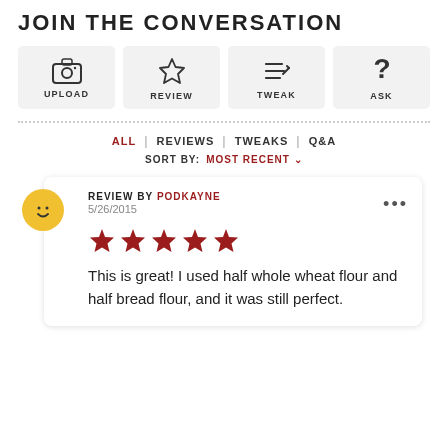JOIN THE CONVERSATION
[Figure (infographic): Four action buttons in a row: UPLOAD (camera icon), REVIEW (star icon), TWEAK (pen/lines icon), ASK (question mark icon)]
ALL | REVIEWS | TWEAKS | Q&A
SORT BY: MOST RECENT
REVIEW BY PODKAYNE
5/26/2015
★★★★★
This is great! I used half whole wheat flour and half bread flour, and it was still perfect.